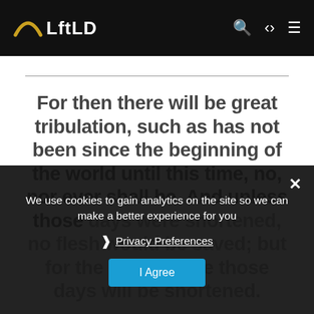LftLD
For then there will be great tribulation, such as has not been since the beginning of the world until this time, no, nor ever shall be. And unless those days were shortened, no flesh would be saved; but for the elect's sake those days will be shortened.
We use cookies to gain analytics on the site so we can make a better experience for you
Privacy Preferences
I Agree